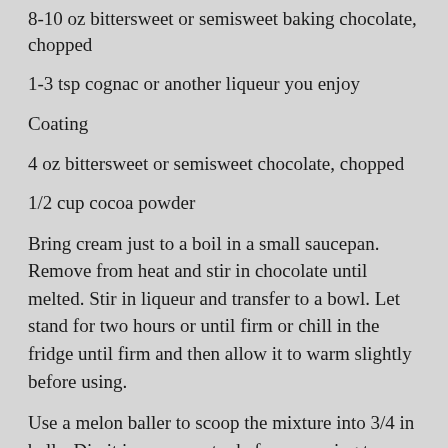8-10 oz bittersweet or semisweet baking chocolate, chopped
1-3 tsp cognac or another liqueur you enjoy
Coating
4 oz bittersweet or semisweet chocolate, chopped
1/2 cup cocoa powder
Bring cream just to a boil in a small saucepan. Remove from heat and stir in chocolate until melted. Stir in liqueur and transfer to a bowl. Let stand for two hours or until firm or chill in the fridge until firm and then allow it to warm slightly before using.
Use a melon baller to scoop the mixture into 3/4 in balls. Dip it in warm water before scooping to make scooping easier (You can use a soup spoon if you don't have a melon baller.) Once all the mixture is scooped, roll the balls in your hands to smooth them.